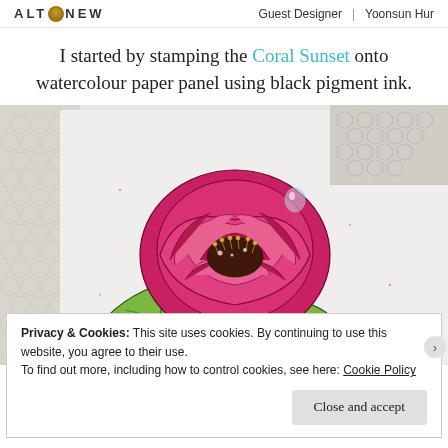ALTENEW | Guest Designer | Yoonsun Hur
I started by stamping the Coral Sunset onto watercolour paper panel using black pigment ink.
[Figure (photo): Close-up watercolour painting of a large magenta/pink peony flower with green leaves, stamped with black ink outlines on white watercolour paper. White lace visible on left. Small clear droplets on paper. Red/salmon bud at bottom.]
Privacy & Cookies: This site uses cookies. By continuing to use this website, you agree to their use.
To find out more, including how to control cookies, see here: Cookie Policy
Close and accept